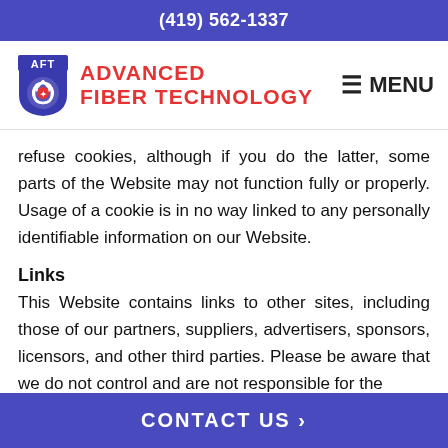(419) 562-1337
[Figure (logo): Advanced Fiber Technology logo with shield emblem showing AFT initials and recycling symbol, company name in red text]
refuse cookies, although if you do the latter, some parts of the Website may not function fully or properly. Usage of a cookie is in no way linked to any personally identifiable information on our Website.
Links
This Website contains links to other sites, including those of our partners, suppliers, advertisers, sponsors, licensors, and other third parties. Please be aware that we do not control and are not responsible for the
CONTACT US ›